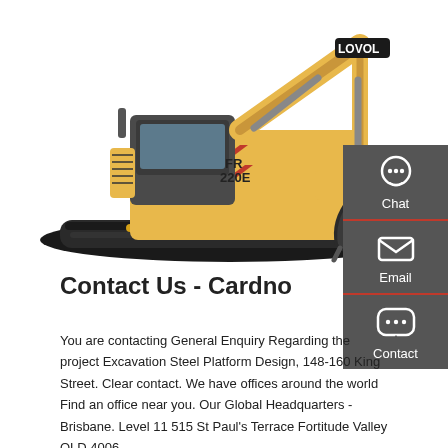[Figure (photo): Yellow Lovol FR220E excavator on white background, showing side profile with boom extended and bucket lowered]
[Figure (infographic): Dark grey sidebar with three contact options: Chat (headset icon), Email (envelope icon), Contact (speech bubble with dots icon), each separated by a red horizontal line]
Contact Us - Cardno
You are contacting General Enquiry Regarding the project Excavation Steel Platform Design, 148-160 King Street. Clear contact. We have offices around the world Find an office near you. Our Global Headquarters - Brisbane. Level 11 515 St Paul's Terrace Fortitude Valley QLD 4006